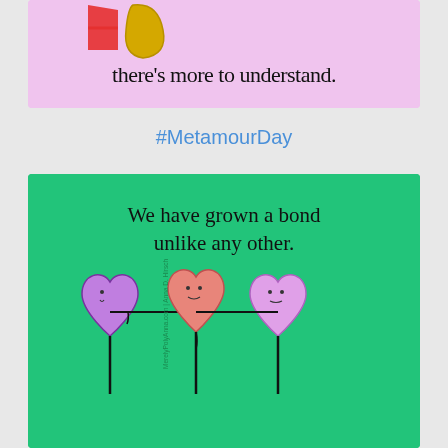[Figure (illustration): Pink/lavender background illustration with decorative letters and cursive text reading 'there's more to understand.']
#MetamourDay
[Figure (illustration): Green background illustration with three heart characters holding sticks in their mouths, with cursive text 'We have grown a bond unlike any other.' and watermark 'MerelyPolyAnna.com | Anna D. Hirsch']